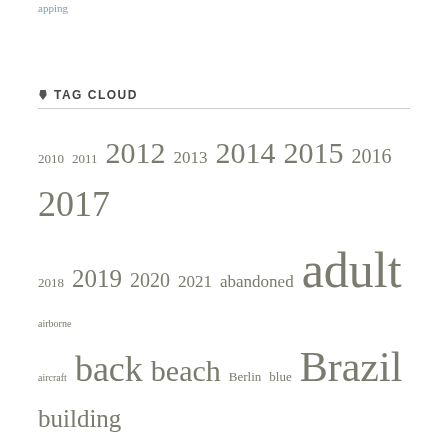apping
TAG CLOUD
[Figure (infographic): Tag cloud showing photography-related tags in varying font sizes indicating frequency. Tags include years 2010-2021, and words like adult, back, beach, Berlin, blue, Brazil, building, butt, cities, backlight, city, cityscapes, cloud, Covid19, Europe, forest, frontal, Germany, green, hill, home, indoors, island, living room, long distance, man, mountain, naked, nature, night landscapes, night photography, nu, nude, orange, photo, purple.]